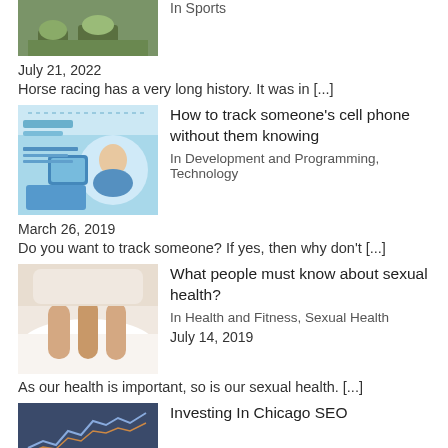[Figure (photo): Horse racing photo thumbnail]
In Sports
July 21, 2022
Horse racing has a very long history. It was in [...]
[Figure (photo): Cell phone tracking article thumbnail with child and phone image]
How to track someone's cell phone without them knowing
In Development and Programming, Technology
March 26, 2019
Do you want to track someone? If yes, then why don't [...]
[Figure (photo): Sexual health article thumbnail with people's feet/legs]
What people must know about sexual health?
In Health and Fitness, Sexual Health
July 14, 2019
As our health is important, so is our sexual health. [...]
[Figure (photo): Chicago SEO article thumbnail with stock chart]
Investing In Chicago SEO